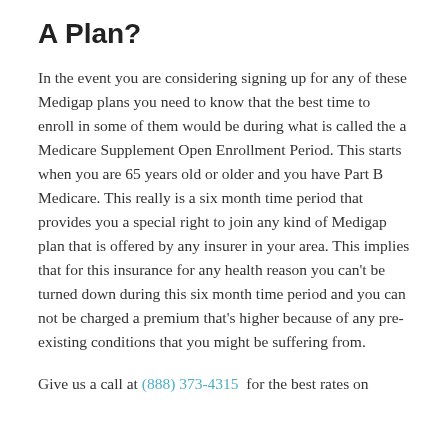A Plan?
In the event you are considering signing up for any of these Medigap plans you need to know that the best time to enroll in some of them would be during what is called the a Medicare Supplement Open Enrollment Period. This starts when you are 65 years old or older and you have Part B Medicare. This really is a six month time period that provides you a special right to join any kind of Medigap plan that is offered by any insurer in your area. This implies that for this insurance for any health reason you can’t be turned down during this six month time period and you can not be charged a premium that’s higher because of any pre-existing conditions that you might be suffering from.
Give us a call at (888) 373-4315 for the best rates on